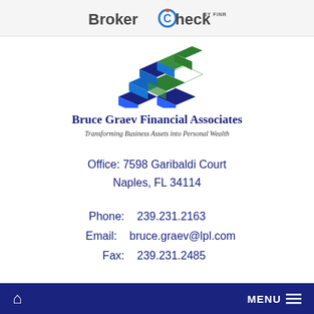BrokerCheck by FINRA
[Figure (logo): LPL Financial / Bruce Graev Financial Associates logo — stacked blue and green 3D block shapes forming a layered grid pattern]
Bruce Graev Financial Associates
Transforming Business Assets into Personal Wealth
Office: 7598 Garibaldi Court
Naples, FL 34114
Phone:  239.231.2163
Email: bruce.graev@lpl.com
Fax:    239.231.2485
🏠   MENU ≡